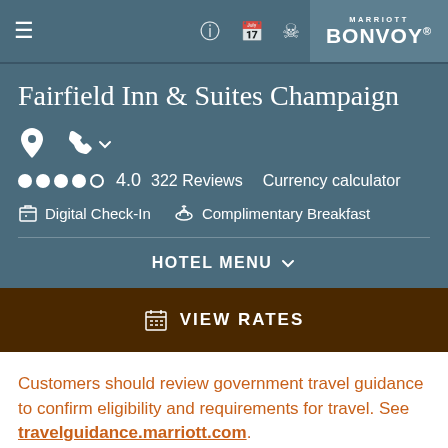Fairfield Inn & Suites Champaign — Marriott Bonvoy website navigation bar
Fairfield Inn & Suites Champaign
4.0  322 Reviews  Currency calculator
Digital Check-In  Complimentary Breakfast
HOTEL MENU
VIEW RATES
Customers should review government travel guidance to confirm eligibility and requirements for travel. See travelguidance.marriott.com.